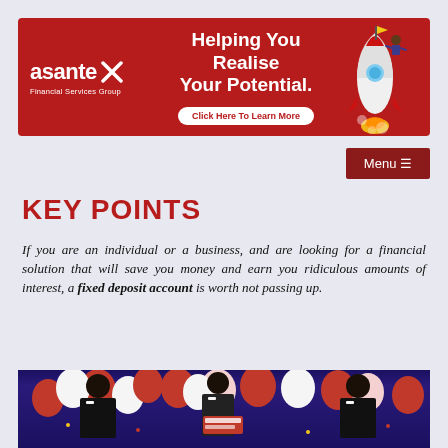[Figure (other): Asante Financial Services Group banner advertisement with red background, logo, headline 'Helping You Realise Your Potential.' with a rocket illustration and 'Click Here To Learn More' button]
[Figure (other): Dark red Menu button with hamburger icon in top right corner]
KEY POINTS
If you are an individual or a business, and are looking for a financial solution that will save you money and earn you ridiculous amounts of interest, a fixed deposit account is worth not passing up.
[Figure (photo): Photo of men in suits and face masks at an event with red and white balloons, confetti, and a 'Just Fix It' sign in the background]